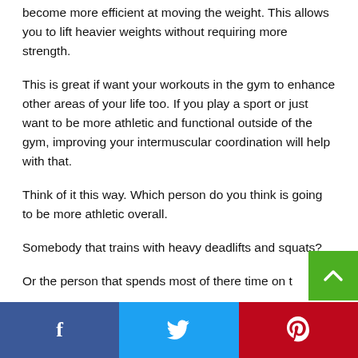become more efficient at moving the weight. This allows you to lift heavier weights without requiring more strength.
This is great if want your workouts in the gym to enhance other areas of your life too. If you play a sport or just want to be more athletic and functional outside of the gym, improving your intermuscular coordination will help with that.
Think of it this way. Which person do you think is going to be more athletic overall.
Somebody that trains with heavy deadlifts and squats?
Or the person that spends most of there time on t